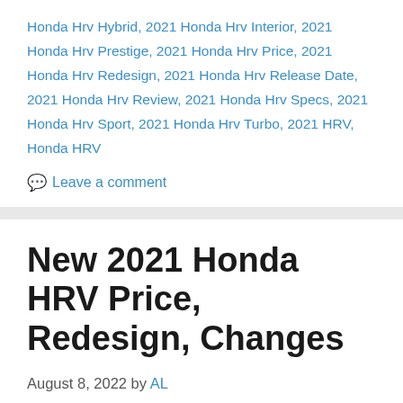Honda Hrv Hybrid, 2021 Honda Hrv Interior, 2021 Honda Hrv Prestige, 2021 Honda Hrv Price, 2021 Honda Hrv Redesign, 2021 Honda Hrv Release Date, 2021 Honda Hrv Review, 2021 Honda Hrv Specs, 2021 Honda Hrv Sport, 2021 Honda Hrv Turbo, 2021 HRV, Honda HRV
Leave a comment
New 2021 Honda HRV Price, Redesign, Changes
August 8, 2022 by AL